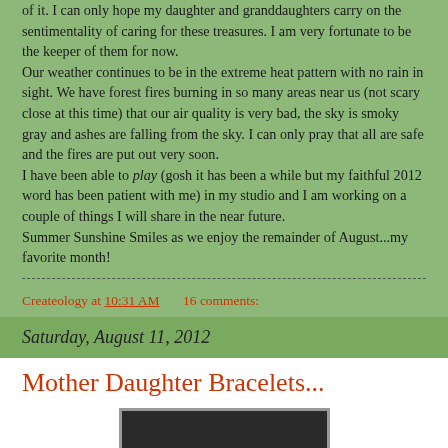of it.  I can only hope my daughter and granddaughters carry on the sentimentality of caring for these treasures.  I am very fortunate to be the keeper of them for now.
Our weather continues to be in the extreme heat pattern with no rain in sight.  We have forest fires burning in so many areas near us (not scary close at this time) that our air quality is very bad, the sky is smoky gray and ashes are falling from the sky.  I can only pray that all are safe and the fires are put out very soon.
I have been able to play (gosh it has been a while but my faithful 2012 word has been patient with me) in my studio and I am working on a couple of things I will share in the near future.
Summer Sunshine Smiles as we enjoy the remainder of August...my favorite month!
Createology at 10:31 AM    16 comments:
Saturday, August 11, 2012
Mother Daughter Bracelets...
[Figure (photo): A photo of people, partially visible at bottom of page]